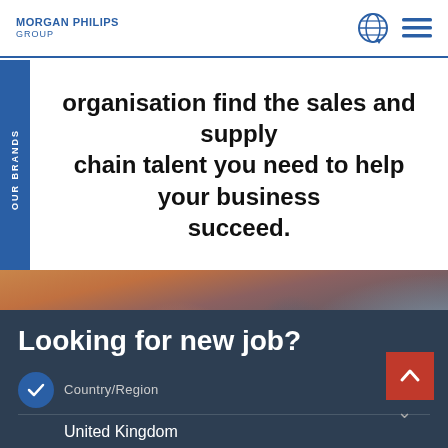[Figure (logo): Morgan Philips Group logo with globe icon and hamburger menu]
OUR BRANDS
organisation find the sales and supply chain talent you need to help your business succeed.
[Figure (photo): Blurry photo of people in a business setting]
Looking for new job?
Country/Region
United Kingdom